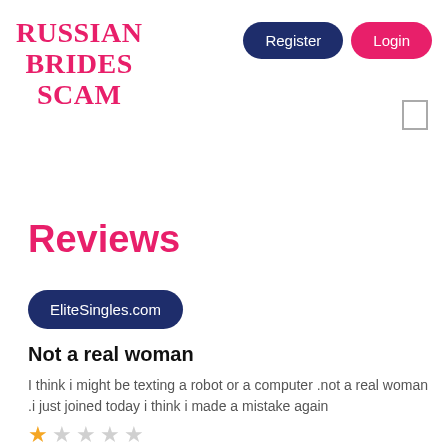RUSSIAN BRIDES SCAM
Register
Login
Reviews
EliteSingles.com
Not a real woman
I think i might be texting a robot or a computer .not a real woman .i just joined today i think i made a mistake again
[Figure (other): 1 out of 5 stars rating — one filled gold star and four empty grey stars]